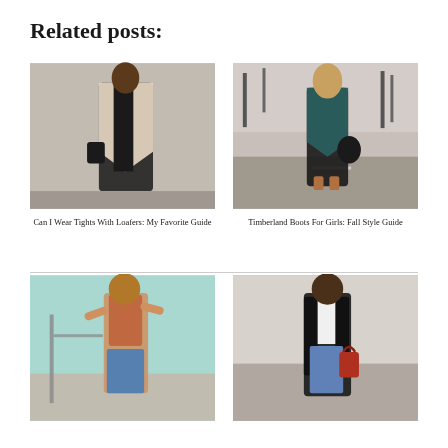Related posts:
[Figure (photo): Woman wearing a beige blazer and black outfit holding a black bag, street style photo]
Can I Wear Tights With Loafers: My Favorite Guide
[Figure (photo): Woman in teal blazer, black outfit, and brown ankle boots carrying a black bag on a street]
Timberland Boots For Girls: Fall Style Guide
[Figure (photo): Woman in blue jeans and colorful top posing near a fence outdoors]
[Figure (photo): Woman in black blazer and white top with blue jeans holding a red bag on a street]